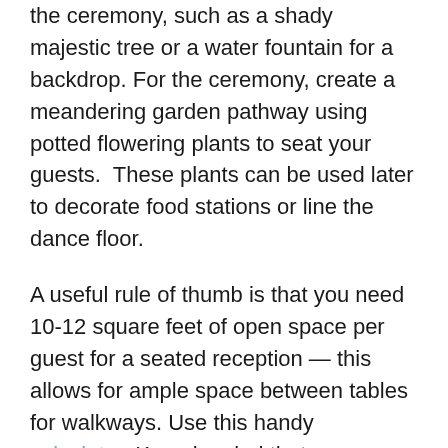the ceremony, such as a shady majestic tree or a water fountain for a backdrop. For the ceremony, create a meandering garden pathway using potted flowering plants to seat your guests.  These plants can be used later to decorate food stations or line the dance floor.
A useful rule of thumb is that you need 10-12 square feet of open space per guest for a seated reception — this allows for ample space between tables for walkways. Use this handy calculator. Keep in mind that you can change up the size and shape of your tables for a better fit.  Long feasting tables are a good option for a narrow room or yard, and cocktail tables may do the trick in confined spaces. Wide open areas, whether in the front or the